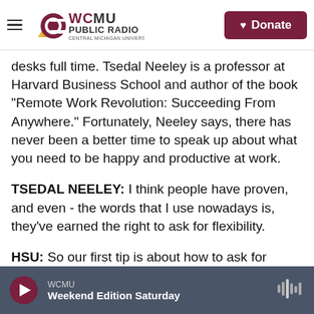WCMU Public Radio — Central Michigan University | Donate
desks full time. Tsedal Neeley is a professor at Harvard Business School and author of the book "Remote Work Revolution: Succeeding From Anywhere." Fortunately, Neeley says, there has never been a better time to speak up about what you need to be happy and productive at work.
TSEDAL NEELEY: I think people have proven, and even - the words that I use nowadays is, they've earned the right to ask for flexibility.
HSU: So our first tip is about how to ask for flexibility. Be prepared to make your case and expect a negotiation. Larissa Horton is a vice
WCMU | Weekend Edition Saturday